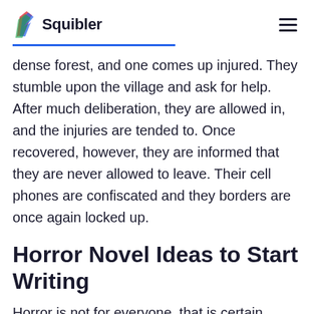Squibler
dense forest, and one comes up injured. They stumble upon the village and ask for help. After much deliberation, they are allowed in, and the injuries are tended to. Once recovered, however, they are informed that they are never allowed to leave. Their cell phones are confiscated and they borders are once again locked up.
Horror Novel Ideas to Start Writing
Horror is not for everyone, that is certain. There are many who avoid it entirely, while there are many